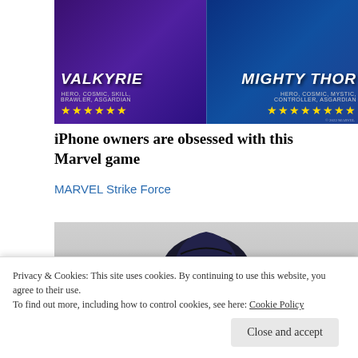[Figure (illustration): Marvel Strike Force game advertisement showing two characters: Valkyrie (left, tagged HERO, COSMIC, SKILL, BRAWLER, ASGARDIAN with 6 gold stars) and Mighty Thor (right, tagged HERO, COSMIC, MYSTIC, CONTROLLER, ASGARDIAN with 8 gold stars) on colorful fantasy backgrounds]
iPhone owners are obsessed with this Marvel game
MARVEL Strike Force
[Figure (photo): Partial image of a person wearing a dark cowboy hat, visible from mid-torso up, partially obscured by cookie consent banner]
Privacy & Cookies: This site uses cookies. By continuing to use this website, you agree to their use.
To find out more, including how to control cookies, see here: Cookie Policy
Close and accept